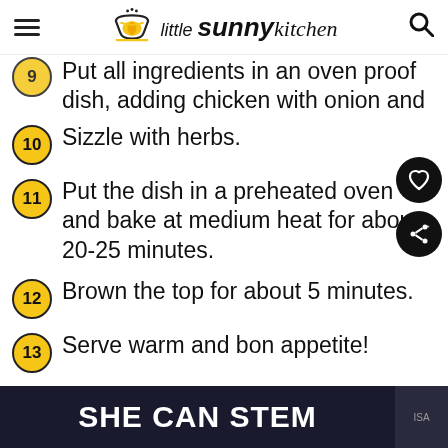little sunny kitchen
Put all ingredients in an oven proof dish, adding chicken with onion and garlic to the bottom, potatoes with the rest of vegetables used to the top.
10 Sizzle with herbs.
11 Put the dish in a preheated oven and bake at medium heat for about 20-25 minutes.
12 Brown the top for about 5 minutes.
13 Serve warm and bon appetite!
SHE CAN STEM